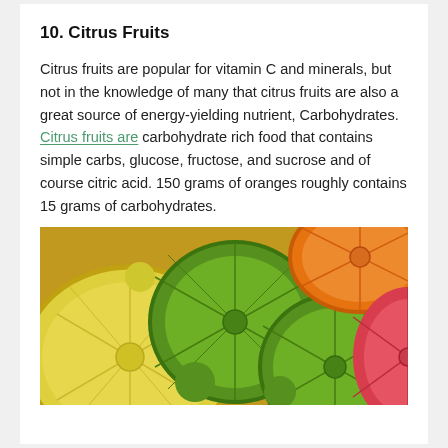10. Citrus Fruits
Citrus fruits are popular for vitamin C and minerals, but not in the knowledge of many that citrus fruits are also a great source of energy-yielding nutrient, Carbohydrates. Citrus fruits are carbohydrate rich food that contains simple carbs, glucose, fructose, and sucrose and of course citric acid. 150 grams of oranges roughly contains 15 grams of carbohydrates.
[Figure (photo): A close-up photo of sliced citrus fruits including lemon, lime, orange, and grapefruit arranged together, showing the cross-sections of the fruits.]